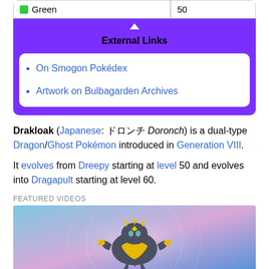| Color | Value |
| --- | --- |
| Green | 50 |
External Links
On Smogon Pokédex
Artwork on Bulbagarden Archives
Drakloak (Japanese: ドロンチ Doronch) is a dual-type Dragon/Ghost Pokémon introduced in Generation VIII.
It evolves from Dreepy starting at level 50 and evolves into Dragapult starting at level 60.
FEATURED VIDEOS
[Figure (photo): Image of Dragapult Pokémon on a stylized blue/pink background]